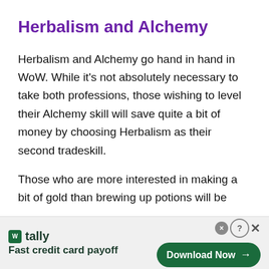Herbalism and Alchemy
Herbalism and Alchemy go hand in hand in WoW. While it's not absolutely necessary to take both professions, those wishing to level their Alchemy skill will save quite a bit of money by choosing Herbalism as their second tradeskill.
Those who are more interested in making a bit of gold than brewing up potions will be
[Figure (infographic): Tally app advertisement banner. Logo with green square icon labeled 'W' and text 'tally'. Tagline: 'Fast credit card payoff'. Green 'Download Now' button with arrow on right side. Close and help buttons in top right corner.]